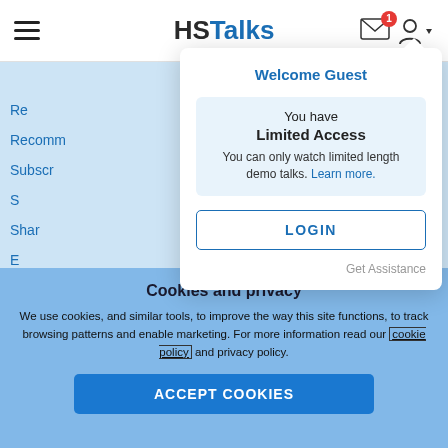HSTalks
Welcome Guest
You have Limited Access You can only watch limited length demo talks. Learn more.
LOGIN
Get Assistance
Re
Recomm
Subscr
Shar
E
View
Cookies and privacy
We use cookies, and similar tools, to improve the way this site functions, to track browsing patterns and enable marketing. For more information read our cookie policy and privacy policy.
ACCEPT COOKIES